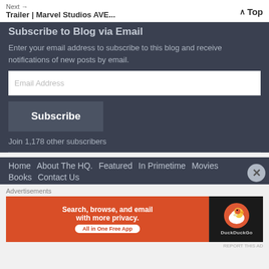Next → Trailer | Marvel Studios AVE...
Subscribe to Blog via Email
Enter your email address to subscribe to this blog and receive notifications of new posts by email.
Email Address
Subscribe
Join 1,178 other subscribers
Home   About The HQ.   Featured   In Primetime   Movies
Books   Contact Us
Advertisements
[Figure (infographic): DuckDuckGo advertisement banner: orange left panel with text 'Search, browse, and email with more privacy. All in One Free App', dark right panel with DuckDuckGo duck logo and brand name.]